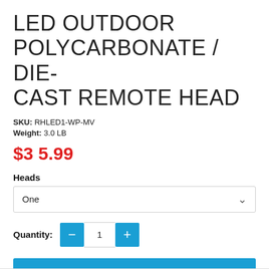LED OUTDOOR POLYCARBONATE / DIE-CAST REMOTE HEAD
SKU: RHLED1-WP-MV
Weight: 3.0 LB
$35.99
Heads
One
Quantity: 1
ADD TO CART
Add to Wishlist